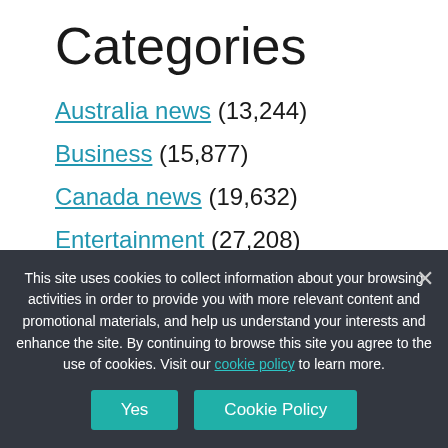Categories
Australia news (13,244)
Business (15,877)
Canada news (19,632)
Entertainment (27,208)
Health (15,360)
Technology (24,241)
This site uses cookies to collect information about your browsing activities in order to provide you with more relevant content and promotional materials, and help us understand your interests and enhance the site. By continuing to browse this site you agree to the use of cookies. Visit our cookie policy to learn more.
Yes | Cookie Policy